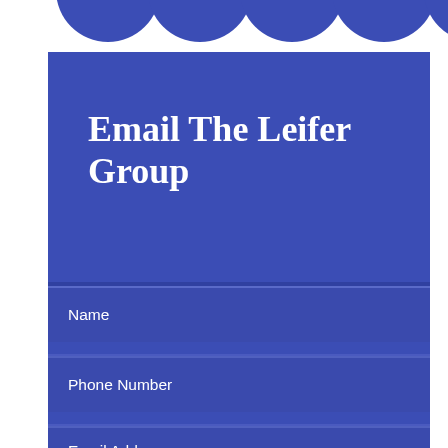[Figure (illustration): Partial view of blue circular icons/logos at the top of the page, cropped]
Email The Leifer Group
Name
Phone Number
Email Address